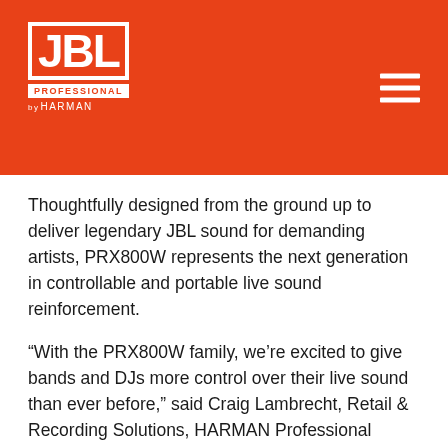JBL Professional by HARMAN
Thoughtfully designed from the ground up to deliver legendary JBL sound for demanding artists, PRX800W represents the next generation in controllable and portable live sound reinforcement.
“With the PRX800W family, we’re excited to give bands and DJs more control over their live sound than ever before,” said Craig Lambrecht, Retail & Recording Solutions, HARMAN Professional Solutions. “Users can now shape their sound wirelessly, right from the palm of their hand, ensuring the best possible listening experience for themselves and their audiences. PRX800W is by far our most advanced and powerful portable PA, and represents the next generation in smart live sound reinforcement.”